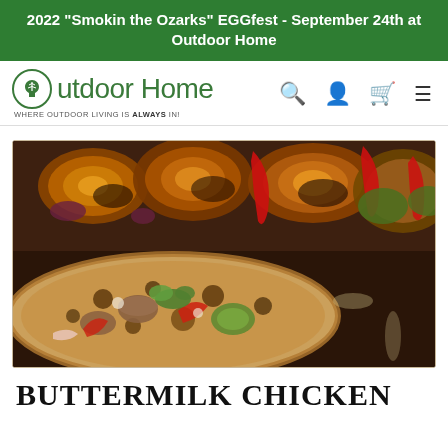2022 "Smokin the Ozarks" EGGfest - September 24th at Outdoor Home
[Figure (logo): Outdoor Home logo with circular tree icon and tagline 'WHERE OUTDOOR LIVING IS ALWAYS IN!']
[Figure (photo): Overhead close-up photo of grilled chicken skewers with red peppers and green vegetables at top, and a flatbread pizza with mushrooms, red peppers, and fresh herbs at bottom, on a dark baking surface]
BUTTERMILK CHICKEN